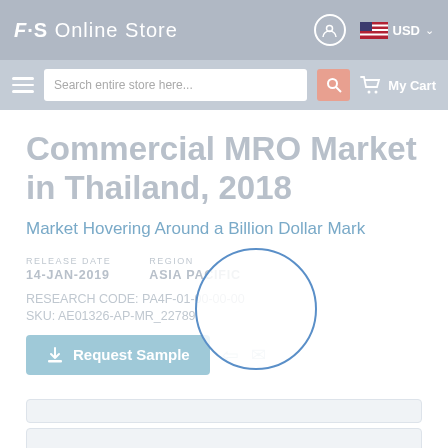F·S Online Store  USD
Search entire store here...  My Cart
Commercial MRO Market in Thailand, 2018
Market Hovering Around a Billion Dollar Mark
RELEASE DATE
14-JAN-2019
REGION
ASIA PACIFIC
RESEARCH CODE: PA4F-01-00-00-00
SKU: AE01326-AP-MR_22789
Request Sample